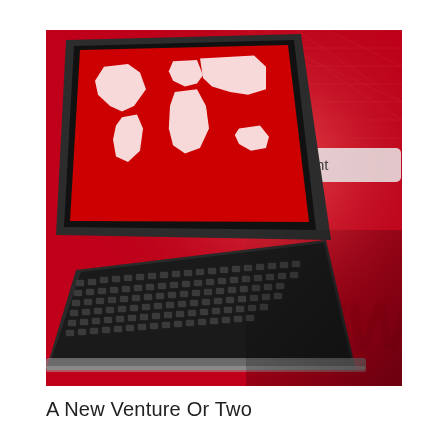[Figure (photo): A laptop computer with a red world map displayed on its screen, set against a red background featuring a large 'Go' browser button and partial URL bar with 'ht' text visible, along with 'www' text in the lower right. The overall color scheme is red and dark/black.]
A New Venture Or Two